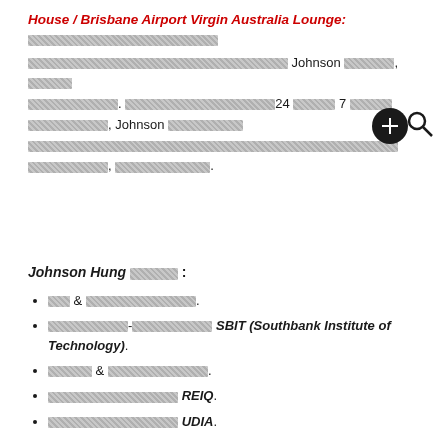House / Brisbane Airport Virgin Australia Lounge: [redacted], [redacted], Johnson [redacted], [redacted] [redacted]. [redacted]24 [redacted] 7 [redacted] [redacted], Johnson [redacted] [redacted], [redacted], [redacted].
Johnson Hung [redacted] :
[redacted] & [redacted].
[redacted]-[redacted] SBIT (Southbank Institute of Technology).
[redacted] & [redacted].
[redacted] REIQ.
[redacted] UDIA.